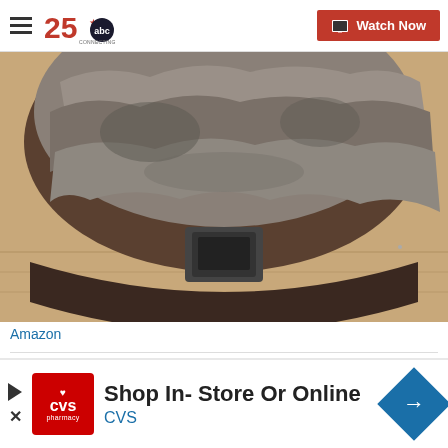25 ABC – CONNECTING CENTRAL TEXAS | Watch Now
[Figure (photo): Close-up photo of a robotic vacuum cleaner dustbin filled with large amount of grey dust and lint, sitting on a wooden floor. The round transparent container is packed with fibrous dust, showing the vacuum's collection bin nearly full.]
Amazon
“Good suction power. Finds its way around
[Figure (other): Advertisement banner for CVS Pharmacy: 'Shop In-Store Or Online' with CVS logo and navigation arrow icon.]